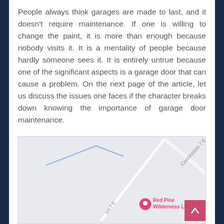People always think garages are made to last, and it doesn't require maintenance. If one is willing to change the paint, it is more than enough because nobody visits it. It is a mentality of people because hardly someone sees it. It is entirely untrue because one of the significant aspects is a garage door that can cause a problem. On the next page of the article, let us discuss the issues one faces if the character breaks down knowing the importance of garage door maintenance.
[Figure (map): Google Maps or similar map screenshot showing roads including 'Concession 7 E' road label and a location marker for 'Red Pine Wilderness Lodge'. The map has a light gray background with road lines in white/light blue. A pink/magenta location pin is visible. A back-to-top button (pink square with upward chevron) is overlaid on the bottom right corner.]